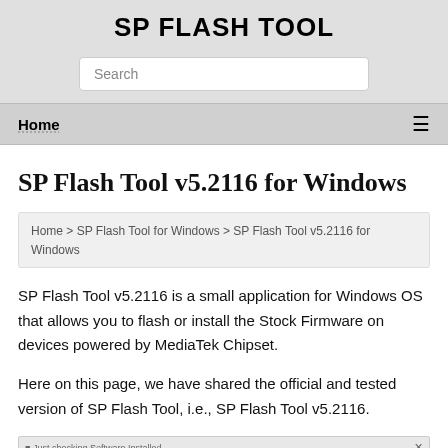SP FLASH TOOL
Search
Home
SP Flash Tool v5.2116 for Windows
Home > SP Flash Tool for Windows > SP Flash Tool v5.2116 for Windows
SP Flash Tool v5.2116 is a small application for Windows OS that allows you to flash or install the Stock Firmware on devices powered by MediaTek Chipset.
Here on this page, we have shared the official and tested version of SP Flash Tool, i.e., SP Flash Tool v5.2116.
[Figure (screenshot): Screenshot stub of SP Flash Tool application window]